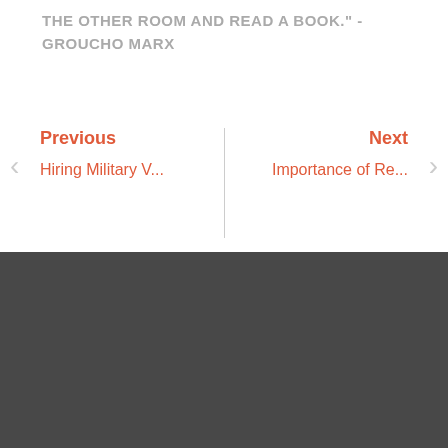THE OTHER ROOM AND READ A BOOK." -GROUCHO MARX
Previous
Hiring Military V...
Next
Importance of Re...